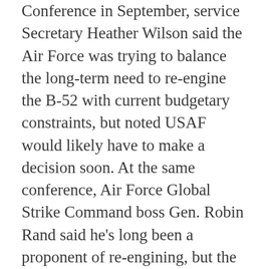Conference in September, service Secretary Heather Wilson said the Air Force was trying to balance the long-term need to re-engine the B-52 with current budgetary constraints, but noted USAF would likely have to make a decision soon. At the same conference, Air Force Global Strike Command boss Gen. Robin Rand said he’s long been a proponent of re-engining, but the bigger question is “where do we find the money, because it will compete against a lot of other areas.”
The Air Force is expected to issue a new “Bomber Vector” in tandem with the 2019 budget proposal. The document will lay out